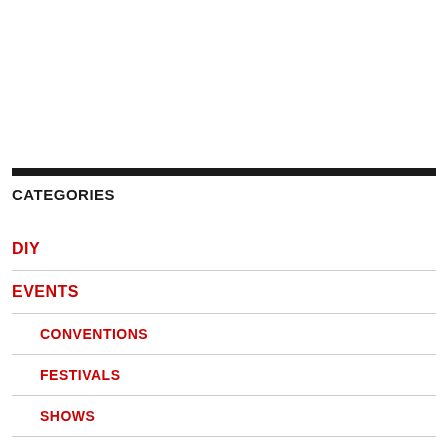CATEGORIES
DIY
EVENTS
CONVENTIONS
FESTIVALS
SHOWS
TOURS